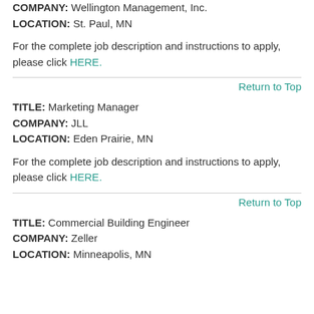COMPANY: Wellington Management, Inc.
LOCATION: St. Paul, MN
For the complete job description and instructions to apply, please click HERE.
Return to Top
TITLE: Marketing Manager
COMPANY: JLL
LOCATION: Eden Prairie, MN
For the complete job description and instructions to apply, please click HERE.
Return to Top
TITLE: Commercial Building Engineer
COMPANY: Zeller
LOCATION: Minneapolis, MN